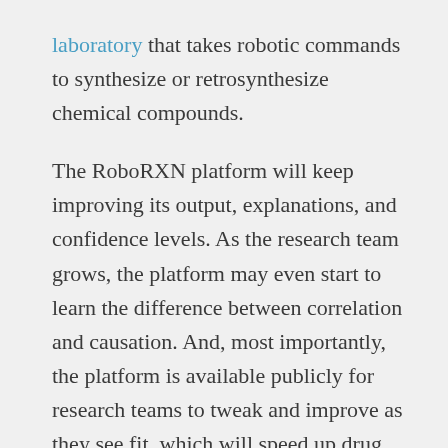laboratory that takes robotic commands to synthesize or retrosynthesize chemical compounds.
The RoboRXN platform will keep improving its output, explanations, and confidence levels. As the research team grows, the platform may even start to learn the difference between correlation and causation. And, most importantly, the platform is available publicly for research teams to tweak and improve as they see fit, which will speed up drug discovery across the world.
Tags: AI and chemical research, AI app developer Boston, app development Boston, artificial